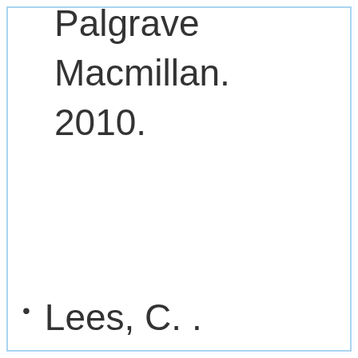Palgrave Macmillan. 2010.
Lees, C. . "Coalition Dynamics and the Changing German Party System"